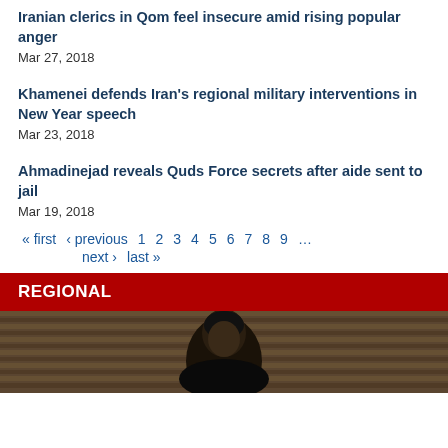Iranian clerics in Qom feel insecure amid rising popular anger
Mar 27, 2018
Khamenei defends Iran's regional military interventions in New Year speech
Mar 23, 2018
Ahmadinejad reveals Quds Force secrets after aide sent to jail
Mar 19, 2018
« first  ‹ previous  1  2  3  4  5  6  7  8  9  …  next ›  last »
REGIONAL
[Figure (photo): Person photographed indoors in front of horizontal blinds/slats background]